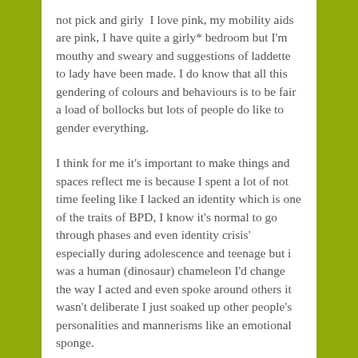not pick and girly  I love pink, my mobility aids are pink, I have quite a girly* bedroom but I'm mouthy and sweary and suggestions of laddette to lady have been made. I do know that all this gendering of colours and behaviours is to be fair a load of bollocks but lots of people do like to gender everything.
I think for me it's important to make things and spaces reflect me is because I spent a lot of not time feeling like I lacked an identity which is one of the traits of BPD, I know it's normal to go through phases and even identity crisis' especially during adolescence and teenage but i was a human (dinosaur) chameleon I'd change the way I acted and even spoke around others it wasn't deliberate I just soaked up other people's personalities and mannerisms like an emotional sponge.
Of course I went through various embarrassing phases such as the emo phase (though I'm still an